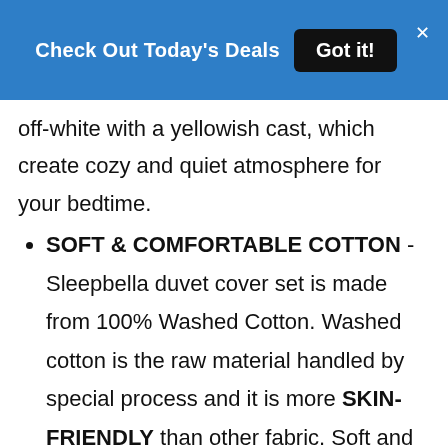Check Out Today's Deals  Got it!
off-white with a yellowish cast, which create cozy and quiet atmosphere for your bedtime.
SOFT & COMFORTABLE COTTON - Sleepbella duvet cover set is made from 100% Washed Cotton. Washed cotton is the raw material handled by special process and it is more SKIN-FRIENDLY than other fabric. Soft and comfy sense of touch always gives you a sweet sleep and accompanies you through four seasons.
NATURAL CHARACTERISTIC - You will find that there are subtle differences in color, as well as fabric WRINKLES that come from the spinning or weaving process, giving washed cotton a natural